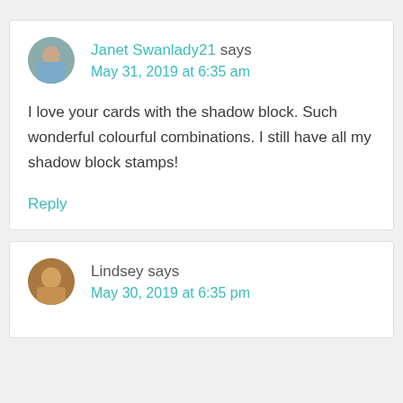Janet Swanlady21 says
May 31, 2019 at 6:35 am
I love your cards with the shadow block. Such wonderful colourful combinations. I still have all my shadow block stamps!
Reply
Lindsey says
May 30, 2019 at 6:35 pm